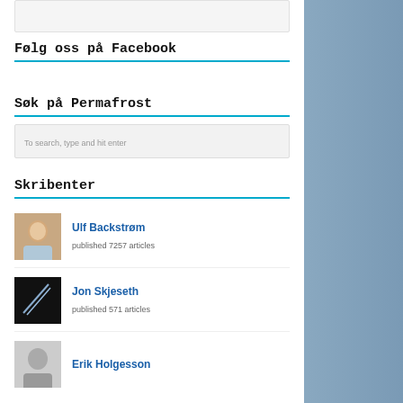To search, type and hit enter
Følg oss på Facebook
Søk på Permafrost
To search, type and hit enter
Skribenter
Ulf Backstrøm
published 7257 articles
Jon Skjeseth
published 571 articles
Erik Holgesson